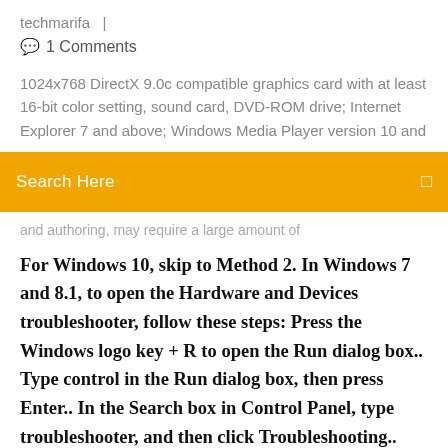techmarifa  |
💬  1 Comments
1024x768 DirectX 9.0c compatible graphics card with at least 16-bit color setting, sound card, DVD-ROM drive; Internet Explorer 7 and above; Windows Media Player version 10 and
[Figure (screenshot): Orange search bar with 'Search Here' placeholder text and a search icon on the right]
and authoring, may require a large amount of
For Windows 10, skip to Method 2. In Windows 7 and 8.1, to open the Hardware and Devices troubleshooter, follow these steps: Press the Windows logo key + R to open the Run dialog box.. Type control in the Run dialog box, then press Enter.. In the Search box in Control Panel, type troubleshooter, and then click Troubleshooting.. Under the Hardware and Sound item, click Configure a device.
DivX Player includes a feature that lets you cast media